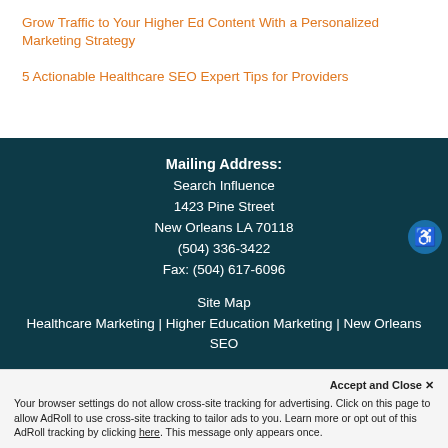Grow Traffic to Your Higher Ed Content With a Personalized Marketing Strategy
5 Actionable Healthcare SEO Expert Tips for Providers
Mailing Address:
Search Influence
1423 Pine Street
New Orleans LA 70118
(504) 336-3422
Fax: (504) 617-6096
Site Map
Healthcare Marketing | Higher Education Marketing | New Orleans SEO
info@searchinfluence.com
© 2024 Search Influence
Accept and Close ✕
Your browser settings do not allow cross-site tracking for advertising. Click on this page to allow AdRoll to use cross-site tracking to tailor ads to you. Learn more or opt out of this AdRoll tracking by clicking here. This message only appears once.